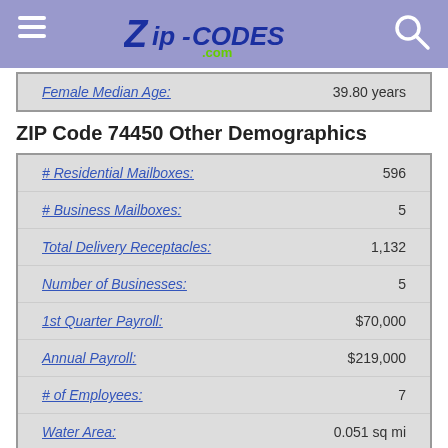Zip-Codes.com
| Field | Value |
| --- | --- |
| Female Median Age: | 39.80 years |
ZIP Code 74450 Other Demographics
| Field | Value |
| --- | --- |
| # Residential Mailboxes: | 596 |
| # Business Mailboxes: | 5 |
| Total Delivery Receptacles: | 1,132 |
| Number of Businesses: | 5 |
| 1st Quarter Payroll: | $70,000 |
| Annual Payroll: | $219,000 |
| # of Employees: | 7 |
| Water Area: | 0.051 sq mi |
| Land Area: | 66.589 sq mi |
| 112th Congressional District: | 02 |